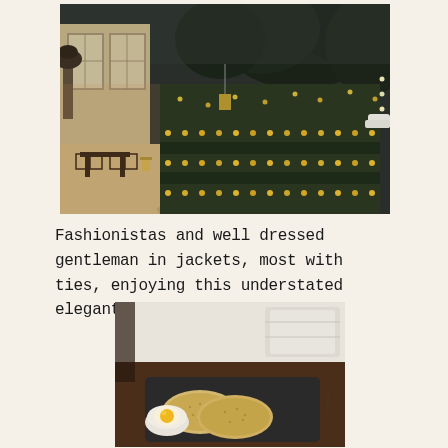[Figure (photo): Outdoor evening garden scene of an elegant restaurant or hotel. Left side shows a covered terrace with dark chairs and tables, a tall decorative urn on a pedestal. Right side shows a formal garden path illuminated with many small candles/lights lining the hedges and lawn, surrounded by lush green trees and bushes.]
Fashionistas and well dressed gentleman in jackets, most with ties, enjoying this understated elegant ambience.
[Figure (photo): Close-up of an elegant restaurant table setting. A dark slate or stone plate holds two thin round crackers/crispbreads and a small white bowl containing what appears to be a soft-boiled egg. A white folded napkin is visible in the upper right. Brown tablecloth visible underneath.]